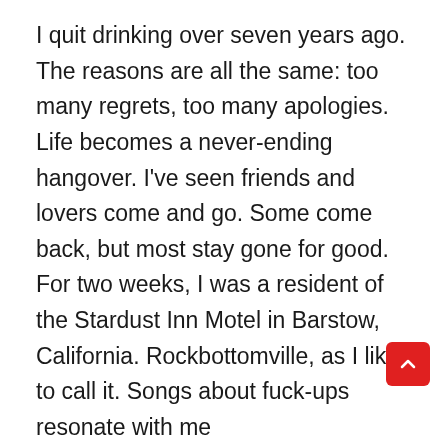I quit drinking over seven years ago. The reasons are all the same: too many regrets, too many apologies. Life becomes a never-ending hangover. I've seen friends and lovers come and go. Some come back, but most stay gone for good. For two weeks, I was a resident of the Stardust Inn Motel in Barstow, California. Rockbottomville, as I like to call it. Songs about fuck-ups resonate with me
My career in drinking coincides with my appreciation for Jimmy Buffett. The two go hand in hand. Yet, my sobriety has in no way diminished my love for him. In fact, I would go as far as to say that I understand the music better now than when I was bellied up at the bar, quietly slurring along to the jukebox. What I eventually began to